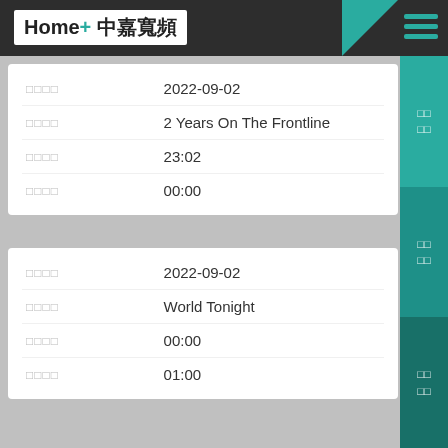Home+ 中嘉寬頻
| Label | Value |
| --- | --- |
| □□□□ | 2022-09-02 |
| □□□□ | 2 Years On The Frontline |
| □□□□ | 23:02 |
| □□□□ | 00:00 |
| Label | Value |
| --- | --- |
| □□□□ | 2022-09-02 |
| □□□□ | World Tonight |
| □□□□ | 00:00 |
| □□□□ | 01:00 |